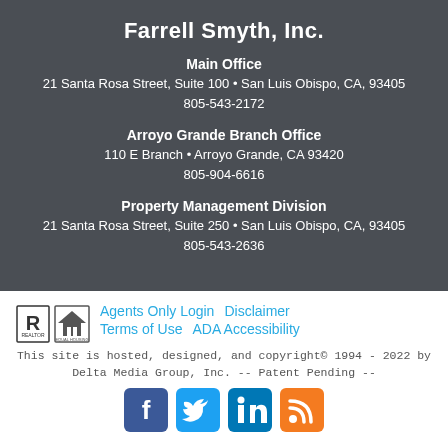Farrell Smyth, Inc.
Main Office
21 Santa Rosa Street, Suite 100 • San Luis Obispo, CA, 93405
805-543-2172
Arroyo Grande Branch Office
110 E Branch • Arroyo Grande, CA 93420
805-904-6616
Property Management Division
21 Santa Rosa Street, Suite 250 • San Luis Obispo, CA, 93405
805-543-2636
Agents Only Login    Disclaimer    Terms of Use    ADA Accessibility
This site is hosted, designed, and copyright© 1994 - 2022 by Delta Media Group, Inc. -- Patent Pending --
[Figure (logo): Social media icons: Facebook, Twitter, LinkedIn, RSS feed]